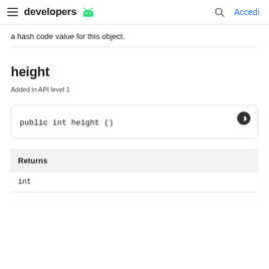developers  Accedi
a hash code value for this object.
height
Added in API level 1
| Returns |
| --- |
| int |